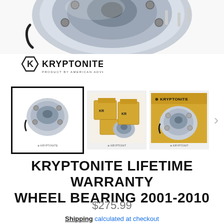[Figure (photo): Close-up top view of a wheel hub bearing assembly (silver/chrome metal), partially cropped at the top of the page]
[Figure (logo): Kryptonite brand logo — hexagonal K icon with 'KRYPTONITE' text and tagline below]
[Figure (photo): Three product thumbnail images: (1) wheel bearing on white background with black border selected, (2) Kryptonite branded cardboard boxes with parts, (3) wheel bearing and parts on gold/yellow backdrop. A right-arrow navigation element is visible.]
KRYPTONITE LIFETIME WARRANTY WHEEL BEARING 2001-2010
$275.99
Shipping calculated at checkout